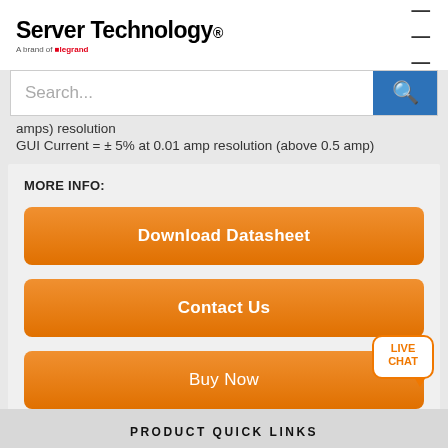Server Technology. A brand of Legrand
amps) resolution
GUI Current = ± 5% at 0.01 amp resolution (above 0.5 amp)
MORE INFO:
[Figure (screenshot): Orange button labeled 'Download Datasheet']
[Figure (screenshot): Orange button labeled 'Contact Us']
[Figure (screenshot): Orange button labeled 'Buy Now' with Live Chat bubble]
PRODUCT QUICK LINKS